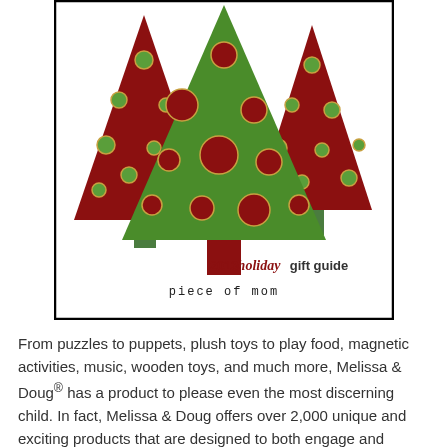[Figure (illustration): Three stylized Christmas trees — two dark red triangular trees flanking a larger green center tree, all decorated with circles (ornaments) in contrasting colors. Below the trees is text reading '2013 holiday gift guide' in script/display fonts, and below that 'piece of mom' in a decorative font. The image has a thin black border.]
From puzzles to puppets, plush toys to play food, magnetic activities, music, wooden toys, and much more, Melissa & Doug® has a product to please even the most discerning child. In fact, Melissa & Doug offers over 2,000 unique and exciting products that are designed to both engage and educate children of all ages. Melissa & Doug offers classic toys, and value-priced arts and craft kits as well as the